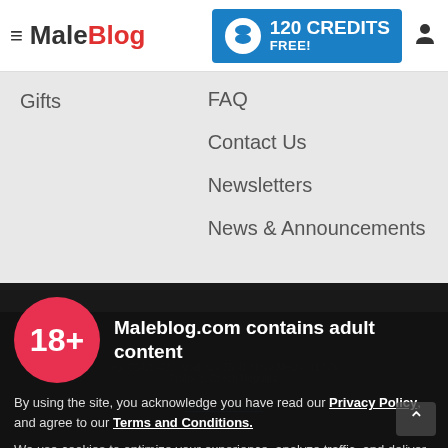Male Blog — 120 CREDITS FREE!
Gifts
FAQ
Contact Us
Newsletters
News & Announcements
Maleblog.com contains adult content
By using the site, you acknowledge you have read our Privacy Policy, and agree to our Terms and Conditions.
We use cookies to optimize your experience, analyze traffic, and deliver more personalized service. To learn more, please see our Privacy Policy.